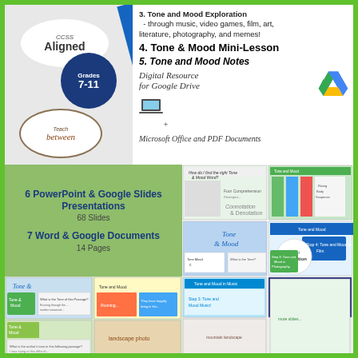[Figure (illustration): Educational product cover image showing CCSS Aligned Grades 7-11 badge, Teach Between logo, diagonal blue bar, and list of Tone and Mood curriculum items including digital resource information for Google Drive, Microsoft Office and PDF Documents]
3. Tone and Mood Exploration - through music, video games, film, art, literature, photography, and memes!
4. Tone & Mood Mini-Lesson
5. Tone and Mood Notes
Digital Resource for Google Drive + Microsoft Office and PDF Documents
6 PowerPoint & Google Slides Presentations
68 Slides
7 Word & Google Documents
14 Pages
[Figure (screenshot): Preview thumbnails of Tone and Mood educational slides and worksheets including Connotation & Denotation, Student Exploration activities, and various presentation slides]